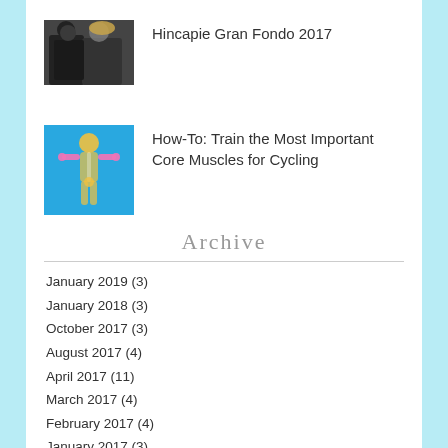[Figure (photo): Thumbnail photo of two people (appears to be a couple) for blog post about Hincapie Gran Fondo 2017]
Hincapie Gran Fondo 2017
[Figure (illustration): Blue illustration of a human body highlighting core muscles, used for cycling core training article]
How-To: Train the Most Important Core Muscles for Cycling
Archive
January 2019 (3)
January 2018 (3)
October 2017 (3)
August 2017 (4)
April 2017 (11)
March 2017 (4)
February 2017 (4)
January 2017 (3)